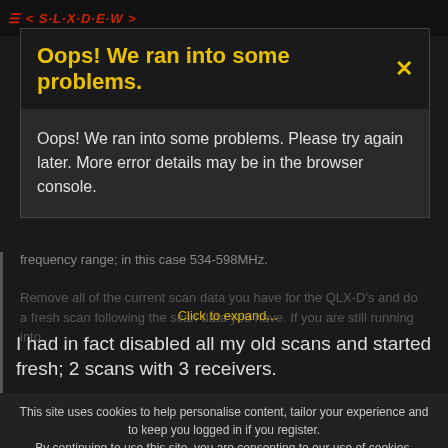[Figure (screenshot): Dark-themed website header with red italic logo text]
Oops! We ran into some problems.
Oops! We ran into some problems. Please try again later. More error details may be in the browser console.
frequency range; in this case 534-598MHz.
Remove all of the current scan data you have for the QLX-D's and do a fresh scan following the scan data you have. If you are still running into...
Click to expand...
I had in fact disabled all my old scans and started fresh; 2 scans with 3 receivers.
This site uses cookies to help personalise content, tailor your experience and to keep you logged in if you register. By continuing to use this site, you are consenting to our use of cookies.
tomorrow.
Joel Engelhardt
Brenden Friedel